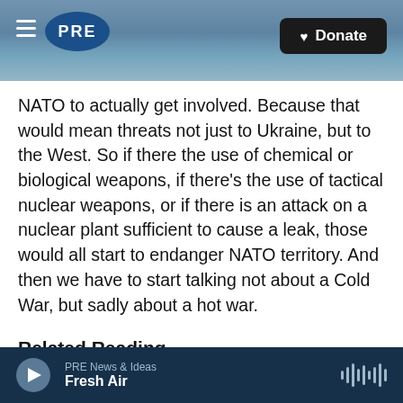PRE | Donate
NATO to actually get involved. Because that would mean threats not just to Ukraine, but to the West. So if there the use of chemical or biological weapons, if there’s the use of tactical nuclear weapons, or if there is an attack on a nuclear plant sufficient to cause a leak, those would all start to endanger NATO territory. And then we have to start talking not about a Cold War, but sadly about a hot war.
Related Reading
New York Times: “I’m a Cold War Historian. We’re in
PRE News & Ideas | Fresh Air